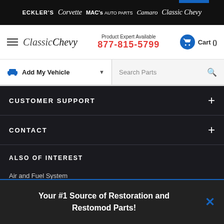ECKLER'S | Corvette | MAC's AUTO PARTS | Camaro | Classic Chevy
Classic Chevy — Product Expert Available 877-815-5799 — Cart ()
Add My Vehicle ▼ | Search Parts
CUSTOMER SUPPORT
CONTACT
ALSO OF INTEREST
Air and Fuel System
Air Conditioning and Heating
Your #1 Source of Restoration and Restomod Parts!